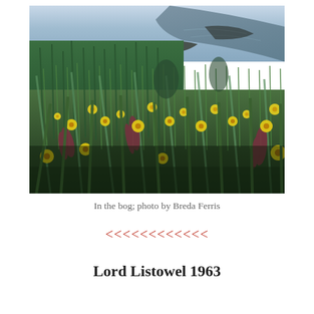[Figure (photo): A close-up photograph of a bog landscape with yellow wildflowers (buttercups), tall green grasses, reddish-purple grass plumes in the foreground, and a dark water channel or stream visible in the background upper right, with grey sky at the top.]
In the bog; photo by Breda Ferris
[Figure (illustration): Decorative row of red double chevron / arrow symbols pointing left: <<<<<<<<<<<]
Lord Listowel 1963